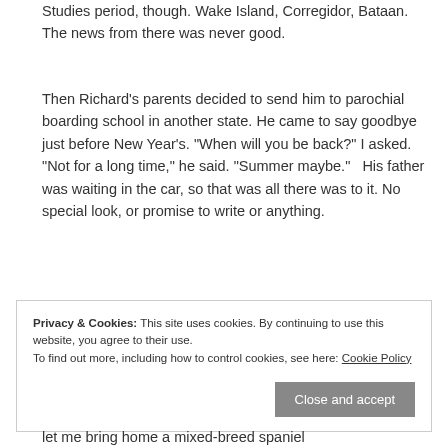Studies period, though. Wake Island, Corregidor, Bataan. The news from there was never good.
Then Richard's parents decided to send him to parochial boarding school in another state. He came to say goodbye just before New Year's. "When will you be back?" I asked. "Not for a long time," he said. "Summer maybe." His father was waiting in the car, so that was all there was to it. No special look, or promise to write or anything.
Privacy & Cookies: This site uses cookies. By continuing to use this website, you agree to their use. To find out more, including how to control cookies, see here: Cookie Policy
let me bring home a mixed-breed spaniel